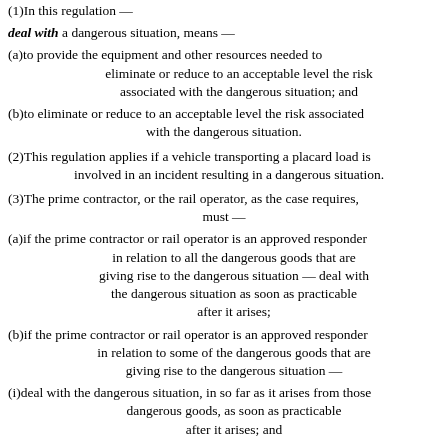(1)In this regulation —
deal with a dangerous situation, means —
(a)to provide the equipment and other resources needed to eliminate or reduce to an acceptable level the risk associated with the dangerous situation; and
(b)to eliminate or reduce to an acceptable level the risk associated with the dangerous situation.
(2)This regulation applies if a vehicle transporting a placard load is involved in an incident resulting in a dangerous situation.
(3)The prime contractor, or the rail operator, as the case requires, must —
(a)if the prime contractor or rail operator is an approved responder in relation to all the dangerous goods that are giving rise to the dangerous situation — deal with the dangerous situation as soon as practicable after it arises;
(b)if the prime contractor or rail operator is an approved responder in relation to some of the dangerous goods that are giving rise to the dangerous situation —
(i)deal with the dangerous situation, in so far as it arises from those dangerous goods, as soon as practicable after it arises; and